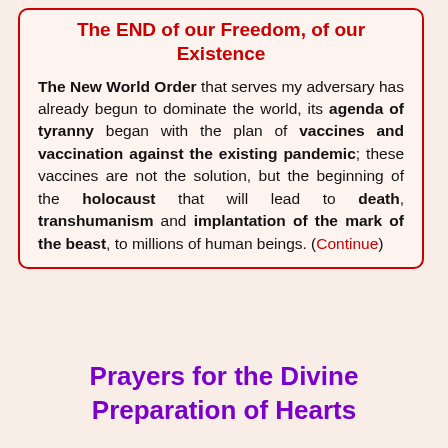The END of our Freedom, of our Existence
The New World Order that serves my adversary has already begun to dominate the world, its agenda of tyranny began with the plan of vaccines and vaccination against the existing pandemic; these vaccines are not the solution, but the beginning of the holocaust that will lead to death, transhumanism and implantation of the mark of the beast, to millions of human beings. (Continue)
Prayers for the Divine Preparation of Hearts